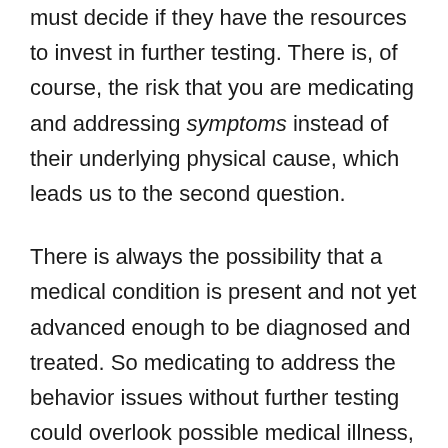must decide if they have the resources to invest in further testing. There is, of course, the risk that you are medicating and addressing symptoms instead of their underlying physical cause, which leads us to the second question.
There is always the possibility that a medical condition is present and not yet advanced enough to be diagnosed and treated. So medicating to address the behavior issues without further testing could overlook possible medical illness, and in those instances the medical condition of the dog may deteriorate after adoption. The more challenging question here, I believe, is to what extent the adoptive family should be educated about the